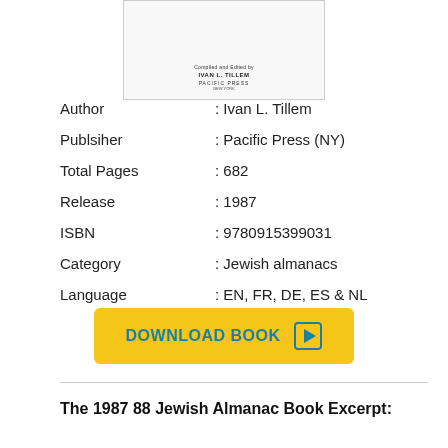[Figure (illustration): Book cover snippet showing compiled and edited by Ivan L. Tillem, Pacific Press, New York]
Author : Ivan L. Tillem
Publsiher : Pacific Press (NY)
Total Pages : 682
Release : 1987
ISBN : 9780915399031
Category : Jewish almanacs
Language : EN, FR, DE, ES & NL
[Figure (other): Download Book button in yellow with play icon]
The 1987 88 Jewish Almanac Book Excerpt: